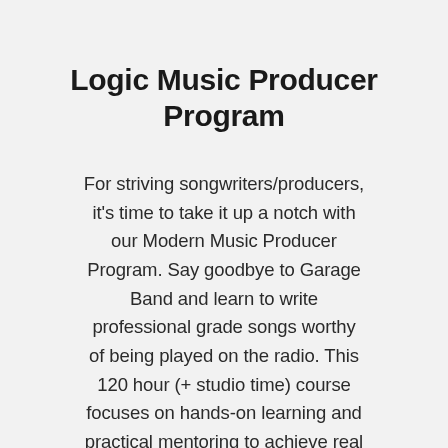Logic Music Producer Program
For striving songwriters/producers, it's time to take it up a notch with our Modern Music Producer Program. Say goodbye to Garage Band and learn to write professional grade songs worthy of being played on the radio. This 120 hour (+ studio time) course focuses on hands-on learning and practical mentoring to achieve real results. Work towards your